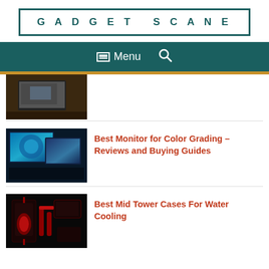GADGET SCANE
[Figure (screenshot): Navigation bar with hamburger Menu icon and search icon on dark teal background]
[Figure (photo): Partial laptop/computer setup photo at top of page, partially cropped]
[Figure (photo): Multiple monitors showing colorful display for color grading article]
Best Monitor for Color Grading – Reviews and Buying Guides
[Figure (photo): PC case interior with red water cooling tubes and components]
Best Mid Tower Cases For Water Cooling